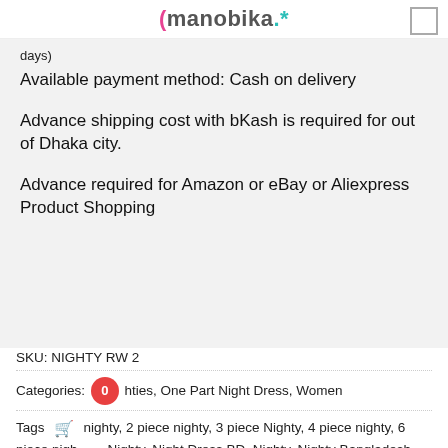manobika
days)
Available payment method: Cash on delivery
Advance shipping cost with bKash is required for out of Dhaka city.
Advance required for Amazon or eBay or Aliexpress Product Shopping
SKU: NIGHTY RW 2
Categories: Nighties, One Part Night Dress, Women
Tags: nighty, 2 piece nighty, 3 piece Nighty, 4 piece nighty, 6 piece nighty, Nighty, Night Dress BD, Nighty, Nighty Bangladesh, Nighty Collection, Nighty Dhaka, Nighty Online Shop in Bangladesh, Nighty Pic, Nighty Shopping bd, printed nighty, Sexy Nighty, Short nighty